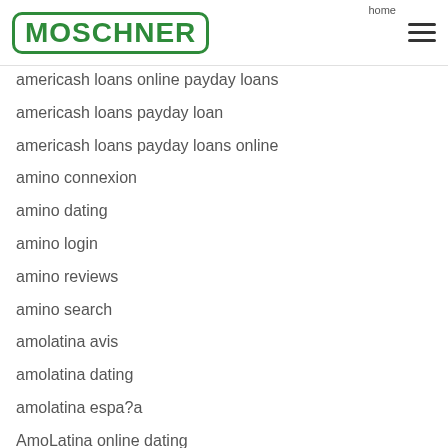MOSCHNER | home
americash loans online payday loans
americash loans payday loan
americash loans payday loans online
amino connexion
amino dating
amino login
amino reviews
amino search
amolatina avis
amolatina dating
amolatina espa?a
AmoLatina online dating